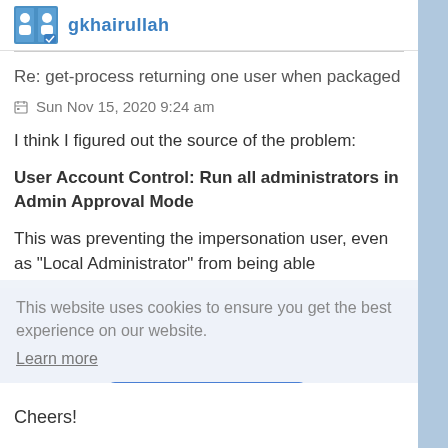gkhairullah
Re: get-process returning one user when packaged
Sun Nov 15, 2020 9:24 am
I think I figured out the source of the problem:
User Account Control: Run all administrators in Admin Approval Mode
This was preventing the impersonation user, even as "Local Administrator" from being able
This website uses cookies to ensure you get the best experience on our website. Learn more
Got it!
Cheers!